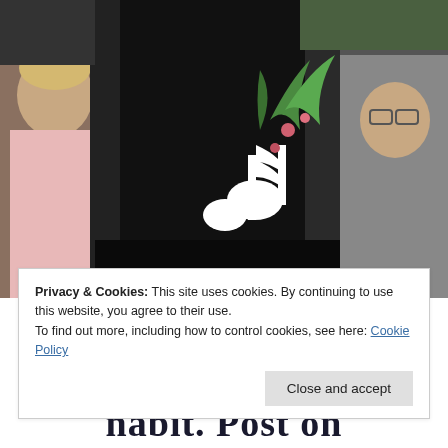[Figure (photo): Photograph showing a child on the left looking at a dark guitar case or bag in the center, which has a white musical note symbol painted on it along with green plant decoration. Another person is visible on the right side. Background is dark/outdoor setting.]
Privacy & Cookies: This site uses cookies. By continuing to use this website, you agree to their use.
To find out more, including how to control cookies, see here: Cookie Policy
Close and accept
nabit. Post on